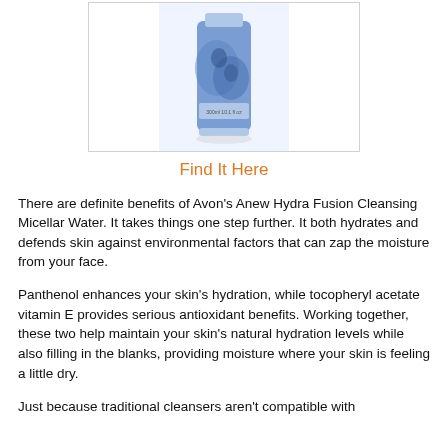[Figure (photo): Avon Anew Hydra Fusion Cleansing Micellar Water product bottle — a blue cylindrical bottle with swirl/droplet design, shown inside a white bordered box]
Find It Here
There are definite benefits of Avon's Anew Hydra Fusion Cleansing Micellar Water. It takes things one step further. It both hydrates and defends skin against environmental factors that can zap the moisture from your face.
Panthenol enhances your skin's hydration, while tocopheryl acetate vitamin E provides serious antioxidant benefits. Working together, these two help maintain your skin's natural hydration levels while also filling in the blanks, providing moisture where your skin is feeling a little dry.
Just because traditional cleansers aren't compatible with